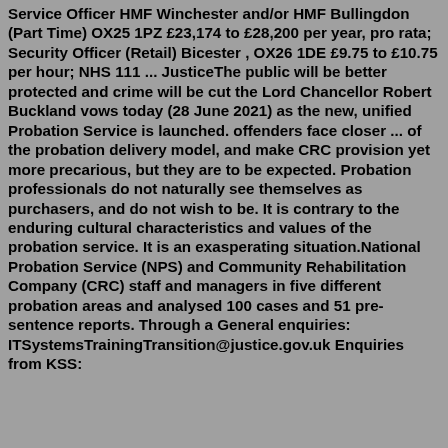Service Officer  HMF Winchester and/or HMF Bullingdon (Part Time) OX25 1PZ £23,174 to £28,200 per year, pro rata; Security Officer (Retail) Bicester , OX26 1DE £9.75 to £10.75 per hour; NHS 111 ... JusticeThe public will be better protected and crime will be cut the Lord Chancellor Robert Buckland vows today (28 June 2021) as the new, unified Probation Service is launched. offenders face closer ... of the probation delivery model, and make CRC provision yet more precarious, but they are to be expected. Probation professionals do not naturally see themselves as purchasers, and do not wish to be. It is contrary to the enduring cultural characteristics and values of the probation service. It is an exasperating situation.National Probation Service (NPS) and Community Rehabilitation Company (CRC) staff and managers in five different probation areas and analysed 100 cases and 51 pre-sentence reports. Through a General enquiries: ITSystemsTrainingTransition@justice.gov.uk Enquiries from KSS: